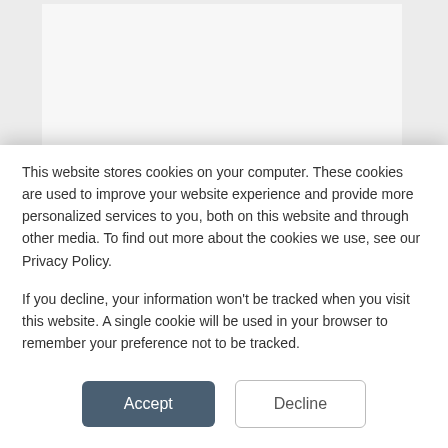[Figure (screenshot): News article page background showing a light gray image area with a dark red NEWS badge and partial article headline about Syrian refugee family]
This website stores cookies on your computer. These cookies are used to improve your website experience and provide more personalized services to you, both on this website and through other media. To find out more about the cookies we use, see our Privacy Policy.

If you decline, your information won't be tracked when you visit this website. A single cookie will be used in your browser to remember your preference not to be tracked.